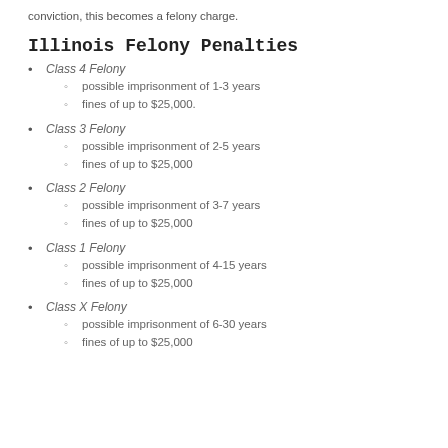conviction, this becomes a felony charge.
Illinois Felony Penalties
Class 4 Felony
  possible imprisonment of 1-3 years
  fines of up to $25,000.
Class 3 Felony
  possible imprisonment of 2-5 years
  fines of up to $25,000
Class 2 Felony
  possible imprisonment of 3-7 years
  fines of up to $25,000
Class 1 Felony
  possible imprisonment of 4-15 years
  fines of up to $25,000
Class X Felony
  possible imprisonment of 6-30 years
  fines of up to $25,000